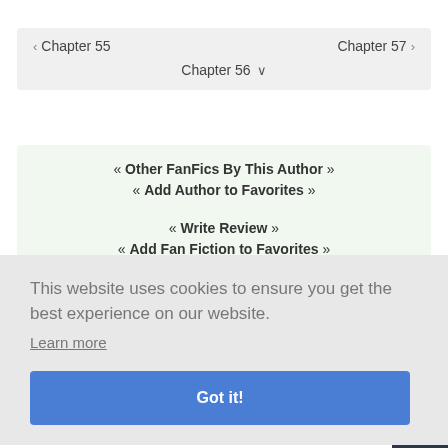Chapter 55   Chapter 56 ∨   Chapter 57
« Other FanFics By This Author »
« Add Author to Favorites »

« Write Review »
« Add Fan Fiction to Favorites »
This website uses cookies to ensure you get the best experience on our website.
Learn more
Got it!